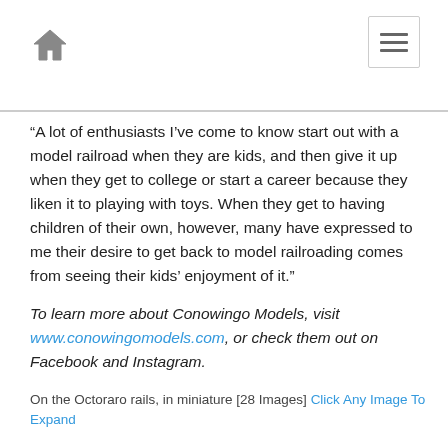[Home icon] [Menu button]
“A lot of enthusiasts I’ve come to know start out with a model railroad when they are kids, and then give it up when they get to college or start a career because they liken it to playing with toys. When they get to having children of their own, however, many have expressed to me their desire to get back to model railroading comes from seeing their kids’ enjoyment of it.”
To learn more about Conowingo Models, visit www.conowingomodels.com, or check them out on Facebook and Instagram.
On the Octoraro rails, in miniature [28 Images] Click Any Image To Expand